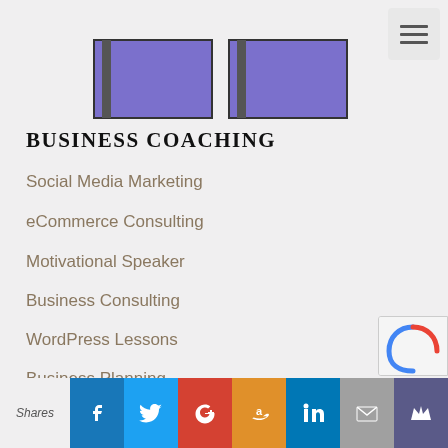[Figure (illustration): Two purple rectangular bars/books side by side with dark binding spines, partially cropped at top of page]
BUSINESS COACHING
Social Media Marketing
eCommerce Consulting
Motivational Speaker
Business Consulting
WordPress Lessons
Business Planning
CRM Consulting
Shares | Facebook | Twitter | Google+ | Amazon | LinkedIn | Email | Crown